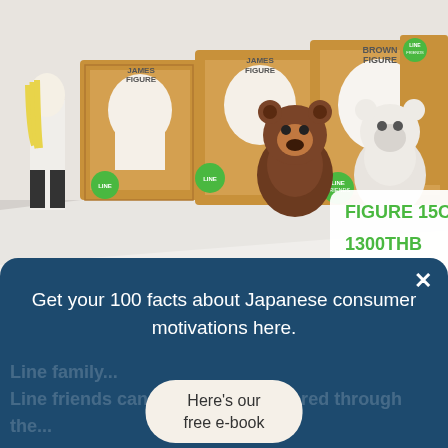[Figure (photo): Photo of LINE Friends character figures (Brown bear and James) displayed in a retail/exhibition setting. Large cardboard boxes with LINE FRIENDS branding line the back wall. A brown bear figurine (Brown) stands in the center foreground. A white bear figurine and a character with blonde hair are also visible. A price tag sign reads 'FIGURE 15CM / 1300THB'.]
Get your 100 facts about Japanese consumer motivations here.
Here's our free e-book
Line family... Line friends can be easily discovered through the...